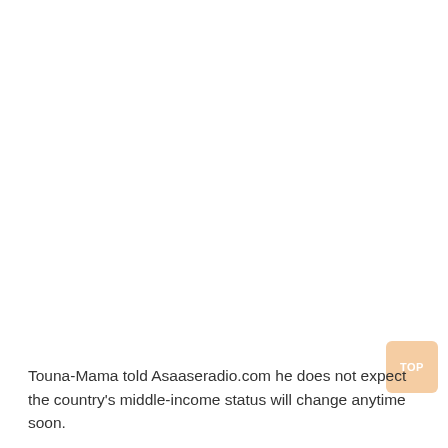Touna-Mama told Asaaseradio.com he does not expect the country's middle-income status will change anytime soon.